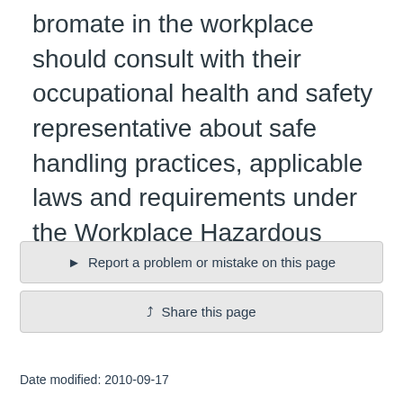bromate in the workplace should consult with their occupational health and safety representative about safe handling practices, applicable laws and requirements under the Workplace Hazardous Materials Information System.
► Report a problem or mistake on this page
↩ Share this page
Date modified: 2010-09-17